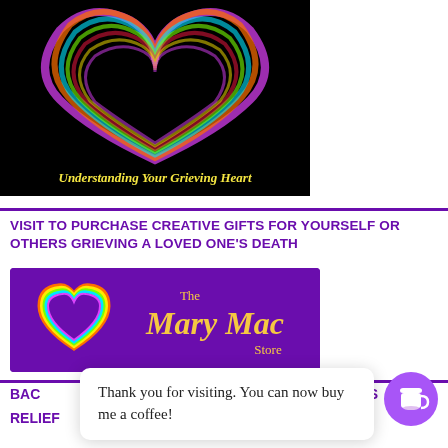[Figure (illustration): Book cover image for 'Understanding Your Grieving Heart' on black background with rainbow heart graphic and yellow italic text]
VISIT TO PURCHASE CREATIVE GIFTS FOR YOURSELF OR OTHERS GRIEVING A LOVED ONE'S DEATH
[Figure (logo): The Mary Mac Store logo on purple background with rainbow heart icon and gold script text]
Thank you for visiting. You can now buy me a coffee!
BAC
IC S
RELIEF